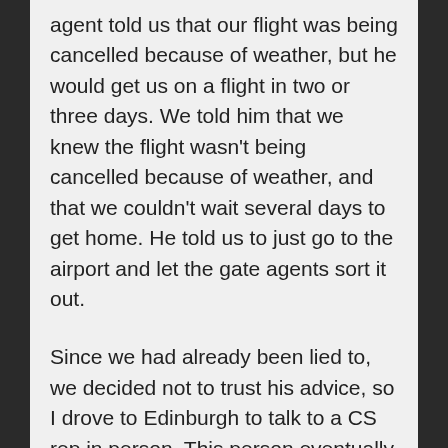agent told us that our flight was being cancelled because of weather, but he would get us on a flight in two or three days. We told him that we knew the flight wasn't being cancelled because of weather, and that we couldn't wait several days to get home. He told us to just go to the airport and let the gate agents sort it out.
Since we had already been lied to, we decided not to trust his advice, so I drove to Edinburgh to talk to a CS rep in person. This person eventually figured out that our tickets had been cancelled. She advised that we would need to purchase new tickets for the flight the next day at a cost of about US$3500, roughly twice the cost of